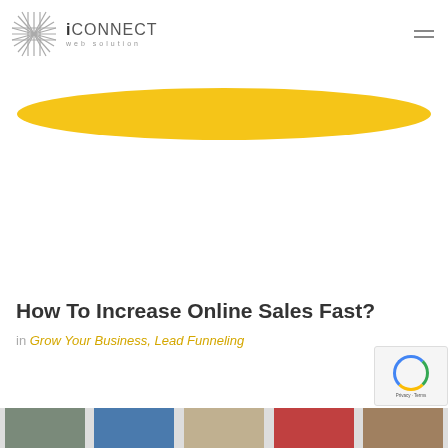[Figure (logo): iConnect Web Solution logo with geometric cross/star icon and text]
[Figure (illustration): Golden/yellow ellipse or pill shape decorative element]
How To Increase Online Sales Fast?
in Grow Your Business, Lead Funneling
[Figure (photo): Bottom thumbnail strip showing partial article preview images]